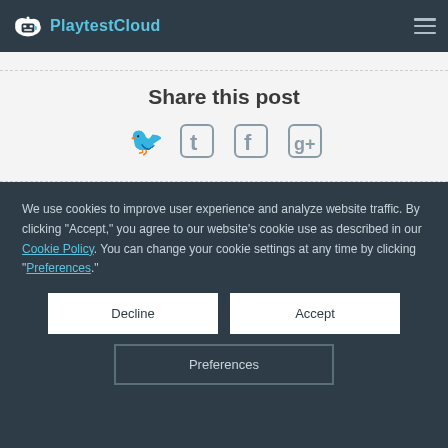PlaytestCloud
Share this post
[Figure (infographic): Social share icons: Twitter bird, Facebook f, Google plus g+]
We use cookies to improve user experience and analyze website traffic. By clicking "Accept," you agree to our website's cookie use as described in our Cookie Policy. You can change your cookie settings at any time by clicking "Preferences."
Decline
Accept
Preferences